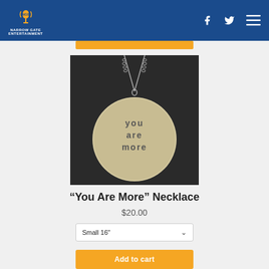Narrow Gate Entertainment — navigation header with logo, Facebook, Twitter, and menu icons
[Figure (photo): A circular silver pendant necklace on a chain against a dark background. The pendant is stamped with the words YOU ARE MORE in block letters.]
“You Are More” Necklace
$20.00
Small 16"
Add to cart